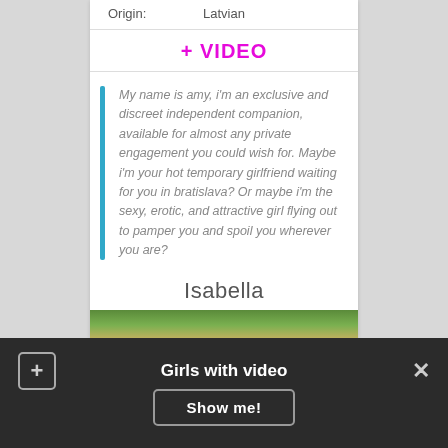Origin: Latvian
+ VIDEO
My name is amy, i'm an exclusive and discreet independent companion, available for almost any private engagement you could wish for. Maybe i'm your hot temporary girlfriend waiting for you in bratislava? Or maybe i'm the sexy, erotic, and attractive girl flying out to pamper you and spoil you wherever you are?
Isabella
[Figure (photo): Partial photo of a person outdoors, cropped at bottom of card]
Girls with video  Show me!